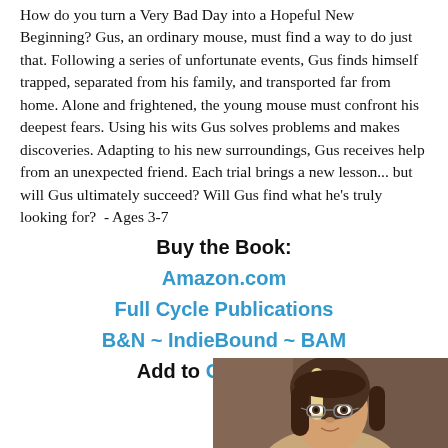How do you turn a Very Bad Day into a Hopeful New Beginning? Gus, an ordinary mouse, must find a way to do just that. Following a series of unfortunate events, Gus finds himself trapped, separated from his family, and transported far from home. Alone and frightened, the young mouse must confront his deepest fears. Using his wits Gus solves problems and makes discoveries. Adapting to his new surroundings, Gus receives help from an unexpected friend. Each trial brings a new lesson... but will Gus ultimately succeed? Will Gus find what he's truly looking for?  - Ages 3-7
Buy the Book:
Amazon.com
Full Cycle Publications
B&N ~ IndieBound ~ BAM
Add to Goodreads
[Figure (photo): A woman with brown hair with a blonde highlight, wearing glasses, photographed from the chest up against a brown/mauve blurred background.]